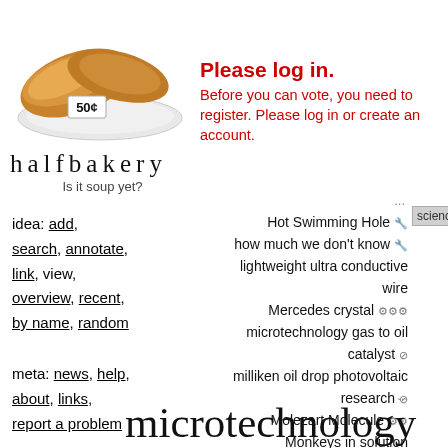[Figure (photo): Photo of two croissants on a white plate with a price tag reading 50 cents]
Please log in. Before you can vote, you need to register. Please log in or create an account.
halfbakery
Is it soup yet?
idea: add, search, annotate, link, view, overview, recent, by name, random
meta: news, help, about, links, report a problem
account: browse anonymously, or get an account and write.
...
Hot Swimming Hole
how much we don't know
lightweight ultra conductive wire
Mercedes crystal
microtechnology gas to oil catalyst
milliken oil drop photovoltaic research
Molezart Molecule
Monkeys in solution
New Element/Compound notation
...
science
microtechnology